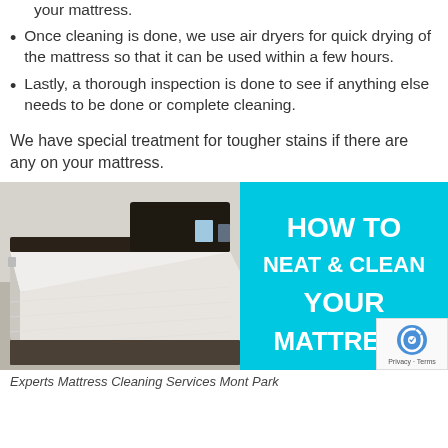…make sure to eliminate moisture from your mattress.
Once cleaning is done, we use air dryers for quick drying of the mattress so that it can be used within a few hours.
Lastly, a thorough inspection is done to see if anything else needs to be done or complete cleaning.
We have special treatment for tougher stains if there are any on your mattress.
[Figure (photo): Photo of a neatly made bed with white mattress on a dark bed frame in a bedroom, alongside a cyan/turquoise graphic panel with white bold text reading 'HOW TO NEAT & CLEAN YOUR MATTRESS']
Experts Mattress Cleaning Services Mont Park